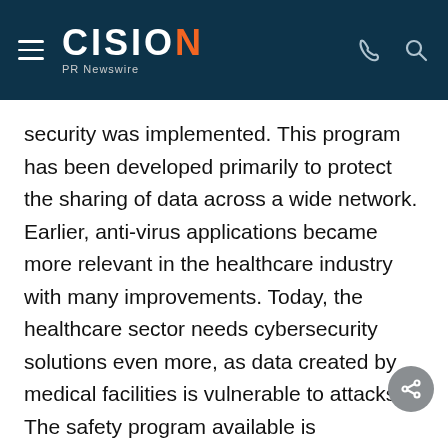CISION PR Newswire
security was implemented. This program has been developed primarily to protect the sharing of data across a wide network. Earlier, anti-virus applications became more relevant in the healthcare industry with many improvements. Today, the healthcare sector needs cybersecurity solutions even more, as data created by medical facilities is vulnerable to attacks. The safety program available is customized to the unique specifications of the enterprise. The healthcare cybersecurity industry is still in progress, following various technical advances. In emerging countries such as India, this sector has enormous development potential, with vast numbers of healthcare facilities producing significant volumes of data per